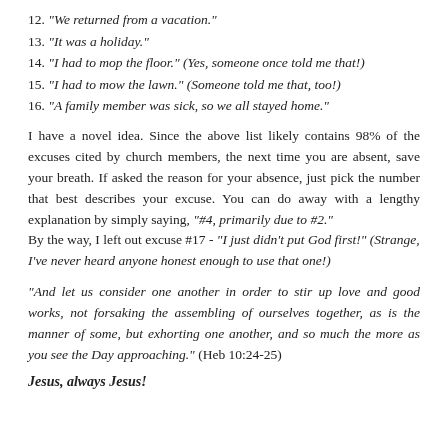12. "We returned from a vacation."
13. "It was a holiday."
14. "I had to mop the floor." (Yes, someone once told me that!)
15. "I had to mow the lawn." (Someone told me that, too!)
16. "A family member was sick, so we all stayed home."
I have a novel idea. Since the above list likely contains 98% of the excuses cited by church members, the next time you are absent, save your breath. If asked the reason for your absence, just pick the number that best describes your excuse. You can do away with a lengthy explanation by simply saying, "#4, primarily due to #2."
By the way, I left out excuse #17 - "I just didn't put God first!" (Strange, I've never heard anyone honest enough to use that one!)
"And let us consider one another in order to stir up love and good works, not forsaking the assembling of ourselves together, as is the manner of some, but exhorting one another, and so much the more as you see the Day approaching." (Heb 10:24-25)
Jesus, always Jesus!